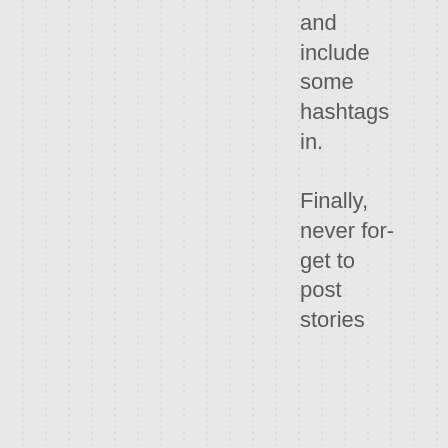and include some hashtags in. Finally, never forget to post stories